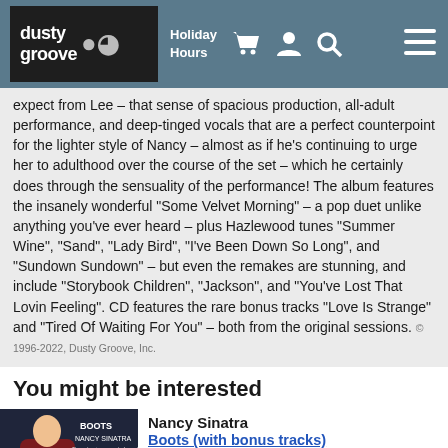dusty groove | Holiday Hours
expect from Lee – that sense of spacious production, all-adult performance, and deep-tinged vocals that are a perfect counterpoint for the lighter style of Nancy – almost as if he's continuing to urge her to adulthood over the course of the set – which he certainly does through the sensuality of the performance! The album features the insanely wonderful "Some Velvet Morning" – a pop duet unlike anything you've ever heard – plus Hazlewood tunes "Summer Wine", "Sand", "Lady Bird", "I've Been Down So Long", and "Sundown Sundown" – but even the remakes are stunning, and include "Storybook Children", "Jackson", and "You've Lost That Lovin Feeling". CD features the rare bonus tracks "Love Is Strange" and "Tired Of Waiting For You" – both from the original sessions. © 1996-2022, Dusty Groove, Inc.
You might be interested
[Figure (photo): Album cover for Nancy Sinatra Boots with bonus tracks – dark background with Nancy Sinatra in red outfit]
Nancy Sinatra
Boots (with bonus tracks)
Reprise/Light In The Attic, 1966. New Copy Gatefold (reissue)
LP...$23.99 27.98
The record that forever put Nancy Sinatra over the top – thanks to the massive title hit "Boots Are Made For Walking" – and some impeccable Lee Hazlewood production that really found a way to make Nancy sound fantastic! The young Sinatra had been wanting to make her own ...